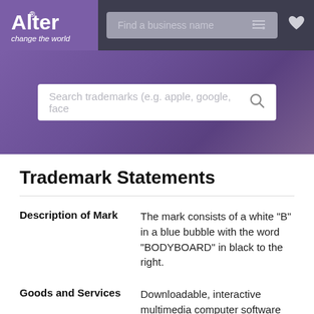[Figure (logo): Alter logo with text 'Alter' and tagline 'change the world' on purple background]
Find a business name
Trademark Statements
Description of Mark: The mark consists of a white "B" in a blue bubble with the word "BODYBOARD" in black to the right.
Goods and Services: Downloadable, interactive multimedia computer software for use in database